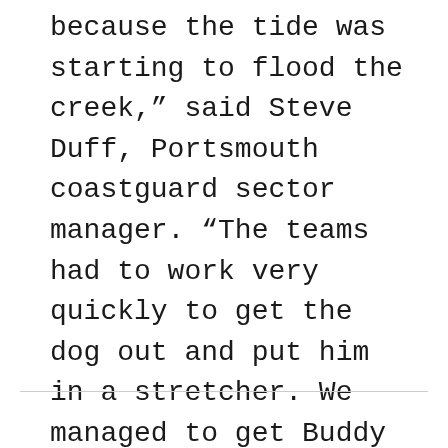because the tide was starting to flood the creek,” said Steve Duff, Portsmouth coastguard sector manager. “The teams had to work very quickly to get the dog out and put him in a stretcher. We managed to get Buddy extracted in the nick of time, just as the water was starting to lap at our boots.”